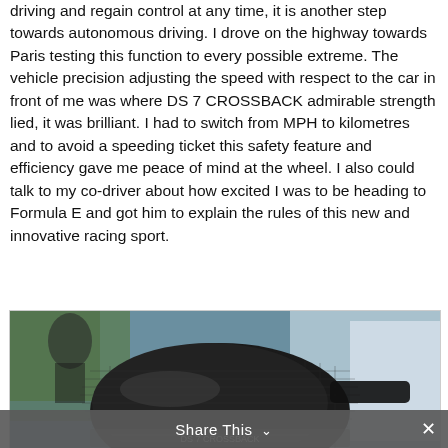driving and regain control at any time, it is another step towards autonomous driving. I drove on the highway towards Paris testing this function to every possible extreme. The vehicle precision adjusting the speed with respect to the car in front of me was where DS 7 CROSSBACK admirable strength lied, it was brilliant. I had to switch from MPH to kilometres and to avoid a speeding ticket this safety feature and efficiency gave me peace of mind at the wheel. I also could talk to my co-driver about how excited I was to be heading to Formula E and got him to explain the rules of this new and innovative racing sport.
[Figure (photo): Close-up photo of a dark carbon-fibre textured car side mirror, with blurred background showing a person and another vehicle.]
Share This ∨  ✕